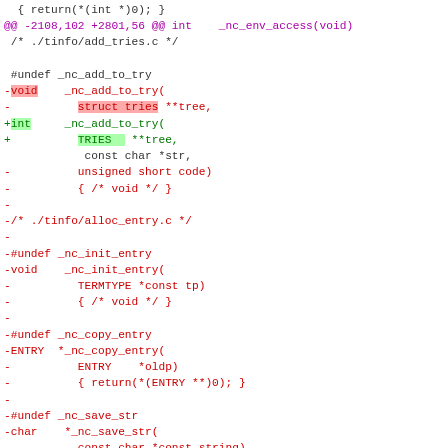[Figure (screenshot): Source code diff showing changes to ncurses library functions including _nc_add_to_try, _nc_init_entry, _nc_copy_entry, _nc_save_str, and _nc_wrap_entry. Removed lines shown in red, added lines in green, with a purple/magenta diff header line.]